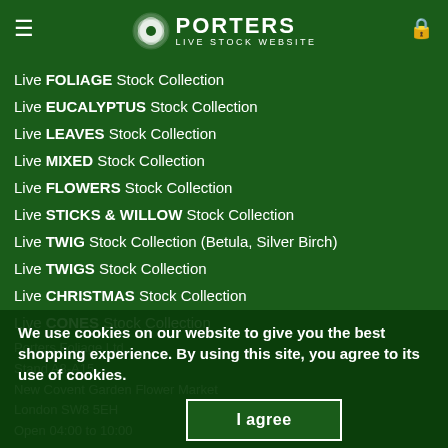PORTERS LIVE STOCK WEBSITE
Live FOLIAGE Stock Collection
Live EUCALYPTUS Stock Collection
Live LEAVES Stock Collection
Live MIXED Stock Collection
Live FLOWERS Stock Collection
Live STICKS & WILLOW Stock Collection
Live TWIG Stock Collection (Betula, Silver Birch)
Live TWIGS Stock Collection
Live CHRISTMAS Stock Collection
Live CONES Stock Collection
Porters Foliage Ltd.
Stand A8-A15
New Covent Garden Flower Market
London SW8 5EH
Open 04:00 to 10:00
We use cookies on our website to give you the best shopping experience. By using this site, you agree to its use of cookies.